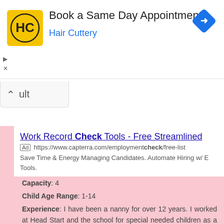[Figure (screenshot): Hair Cuttery ad banner with logo, 'Book a Same Day Appointment' headline, 'Hair Cuttery' subtitle in blue, and a blue diamond navigation icon on the right]
ult
Work Record Check Tools - Free Streamlined
Ad https://www.capterra.com/employmentcheck/free-list
Save Time & Energy Managing Candidates. Automate Hiring w/ E Tools.
Capacity: 4
Child Age Range: 1-14
Experience: I have been a nanny for over 12 years. I worked at Head Start and the school for special needed children as a para. I have potty trained both boys and girls.
OK with Pet?: Yes
School: south high
Hobbies: crafts with my kids, boating, and camping